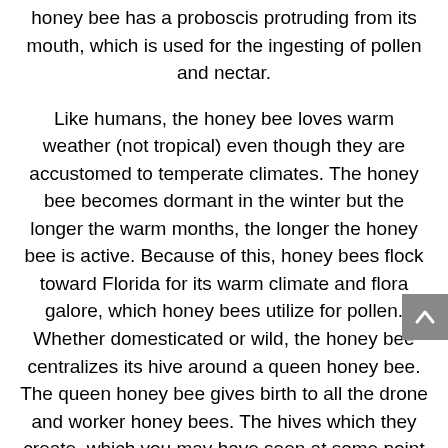honey bee has a proboscis protruding from its mouth, which is used for the ingesting of pollen and nectar.
Like humans, the honey bee loves warm weather (not tropical) even though they are accustomed to temperate climates. The honey bee becomes dormant in the winter but the longer the warm months, the longer the honey bee is active. Because of this, honey bees flock toward Florida for its warm climate and flora galore, which honey bees utilize for pollen. Whether domesticated or wild, the honey bee centralizes its hive around a queen honey bee. The queen honey bee gives birth to all the drone and worker honey bees. The hives which they create, which you may have seen at some point here in Mulberry, tend to be in confined areas such as tree hollows or even your own chimney! Because of their love for confined dry areas, you might stumble across a honey bee hive in your Mulberry home